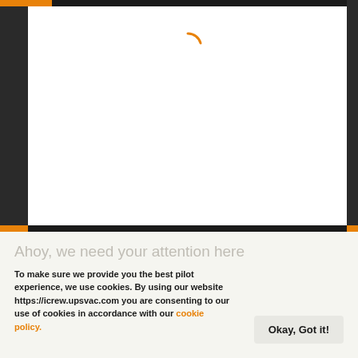[Figure (screenshot): Website loading screen with dark background, orange accent bar at top-left, and a spinning loading indicator (orange arc) centered in a white content area. Dark side panels frame the content.]
Ahoy, we need your attention here
To make sure we provide you the best pilot experience, we use cookies. By using our website https://icrew.upsvac.com you are consenting to our use of cookies in accordance with our cookie policy.
Okay, Got it!